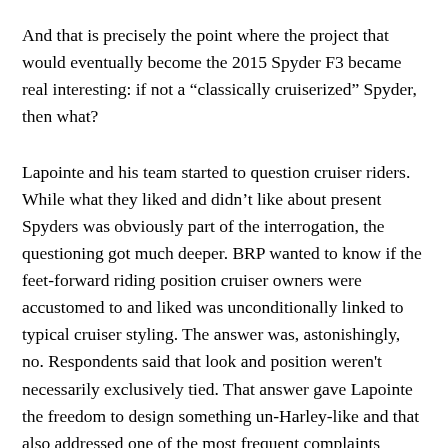And that is precisely the point where the project that would eventually become the 2015 Spyder F3 became real interesting: if not a “classically cruiserized” Spyder, then what?
Lapointe and his team started to question cruiser riders. While what they liked and didn’t like about present Spyders was obviously part of the interrogation, the questioning got much deeper. BRP wanted to know if the feet-forward riding position cruiser owners were accustomed to and liked was unconditionally linked to typical cruiser styling. The answer was, astonishingly, no. Respondents said that look and position weren't necessarily exclusively tied. That answer gave Lapointe the freedom to design something un-Harley-like and that also addressed one of the most frequent complaints regarding Spyders styling: too plasticky.
The result, the F3 is now by far the biggest styling leap for the